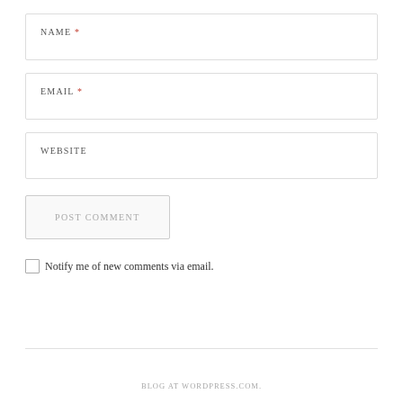NAME *
EMAIL *
WEBSITE
POST COMMENT
Notify me of new comments via email.
BLOG AT WORDPRESS.COM.